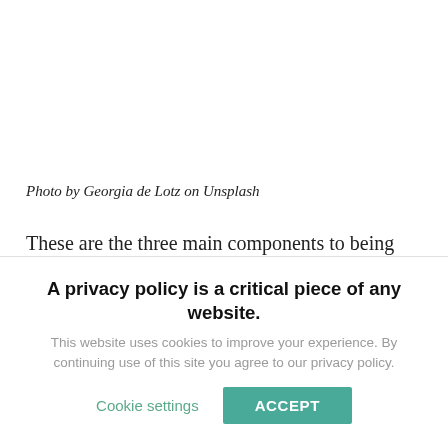Photo by Georgia de Lotz on Unsplash
These are the three main components to being successful on a social media platform. As you go deeper into your commitment on social media marketing, you will see it is complex and there
A privacy policy is a critical piece of any website.
This website uses cookies to improve your experience. By continuing use of this site you agree to our privacy policy.
Cookie settings
ACCEPT